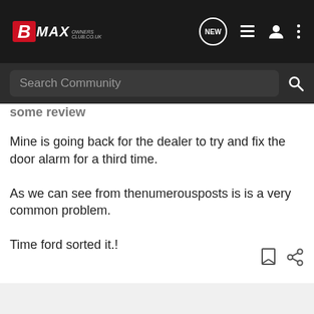[Figure (logo): B-MAX Owners Club logo on dark navigation bar with NEW chat icon, list icon, user icon, and more icon]
Search Community
some review (partially cut off)
Mine is going back for the dealer to try and fix the door alarm for a third time.
As we can see from thenumerousposts is is a very common problem.
Time ford sorted it.!